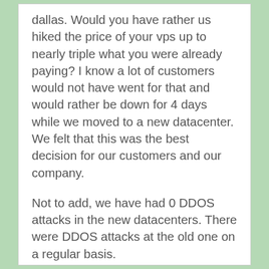dallas. Would you have rather us hiked the price of your vps up to nearly triple what you were already paying? I know a lot of customers would not have went for that and would rather be down for 4 days while we moved to a new datacenter. We felt that this was the best decision for our customers and our company.
Not to add, we have had 0 DDOS attacks in the new datacenters. There were DDOS attacks at the old one on a regular basis.
Our services must not be to bad, as you are still with us for some reason. :) I imagine you recognize that we improve our services every time there is a problem or you wouldn't still be with us.